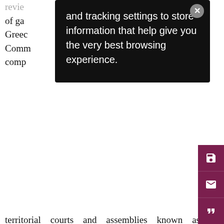territorial courts and assemblies known as 'Things'. Subjects could easily switch membership simply by making a witnessed public pronouncement and paying membership fees to their new Thing, effectively 'voting with their tributes'. The Ottomans applied a non-territorial 'millet' system to govern their multicultural and multi-religious empire. A millet was an autonomous self-governing community organised under its own laws and headed by its own leader, who was responsible to the central Ottoman government for
[Figure (screenshot): Cookie/tracking consent popup overlay with dark background. Text reads: 'and tracking settings to store information that help give you the very best browsing experience.' with a close button (×) in top-right corner.]